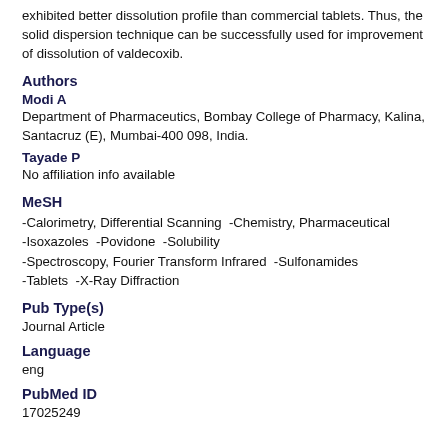exhibited better dissolution profile than commercial tablets. Thus, the solid dispersion technique can be successfully used for improvement of dissolution of valdecoxib.
Authors
Modi A
Department of Pharmaceutics, Bombay College of Pharmacy, Kalina, Santacruz (E), Mumbai-400 098, India.
Tayade P
No affiliation info available
MeSH
-Calorimetry, Differential Scanning  -Chemistry, Pharmaceutical -Isoxazoles  -Povidone  -Solubility -Spectroscopy, Fourier Transform Infrared  -Sulfonamides -Tablets  -X-Ray Diffraction
Pub Type(s)
Journal Article
Language
eng
PubMed ID
17025249